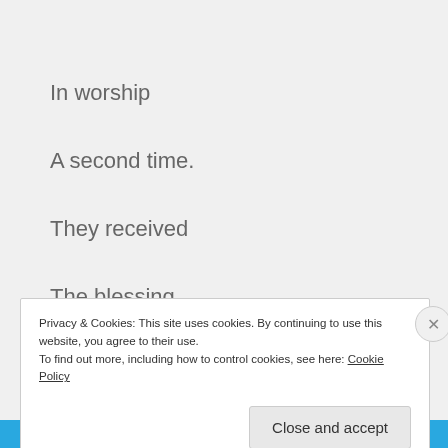In worship
A second time.
They received
The blessing
From the Most High.”
Privacy & Cookies: This site uses cookies. By continuing to use this website, you agree to their use.
To find out more, including how to control cookies, see here: Cookie Policy
Close and accept